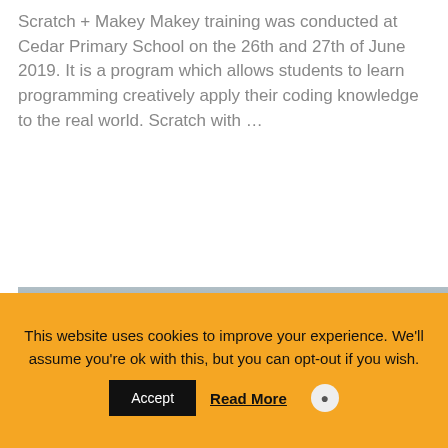Scratch + Makey Makey training was conducted at Cedar Primary School on the 26th and 27th of June 2019. It is a program which allows students to learn programming creatively apply their coding knowledge to the real world. Scratch with …
READ MORE
[Figure (photo): Partial view of a photo with a gray/steel blue sky background]
This website uses cookies to improve your experience. We'll assume you're ok with this, but you can opt-out if you wish.
Accept
Read More